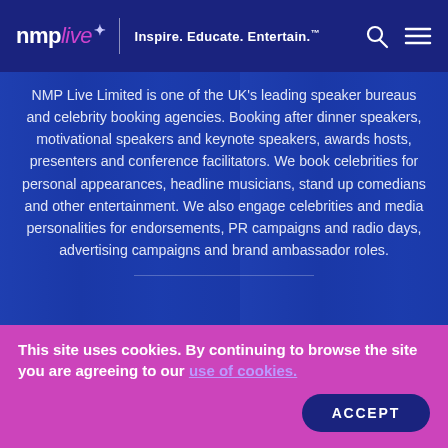nmp live | Inspire. Educate. Entertain.
NMP Live Limited is one of the UK's leading speaker bureaus and celebrity booking agencies. Booking after dinner speakers, motivational speakers and keynote speakers, awards hosts, presenters and conference facilitators. We book celebrities for personal appearances, headline musicians, stand up comedians and other entertainment. We also engage celebrities and media personalities for endorsements, PR campaigns and radio days, advertising campaigns and brand ambassador roles.
© 2020 NMP Live Limited. All rights reserved. 'NMP' is a registered trademark of NMP Live Limited. Privacy Policy | Website Terms of Use | Cookie Policy | Web Design
This site uses cookies. By continuing to browse the site you are agreeing to our use of cookies.